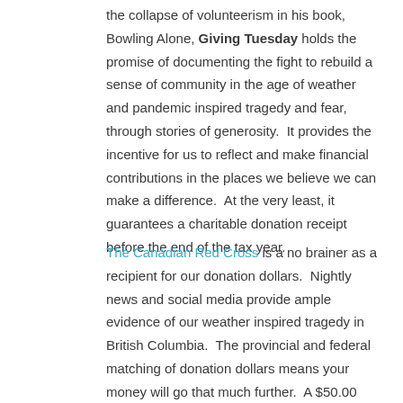the collapse of volunteerism in his book, Bowling Alone, Giving Tuesday holds the promise of documenting the fight to rebuild a sense of community in the age of weather and pandemic inspired tragedy and fear, through stories of generosity.  It provides the incentive for us to reflect and make financial contributions in the places we believe we can make a difference.  At the very least, it guarantees a charitable donation receipt before the end of the tax year.
The Canadian Red Cross is a no brainer as a recipient for our donation dollars.  Nightly news and social media provide ample evidence of our weather inspired tragedy in British Columbia.  The provincial and federal matching of donation dollars means your money will go that much further.  A $50.00 donation to the Canadian Red Cross provides $150.00 to this trusted agency.  And